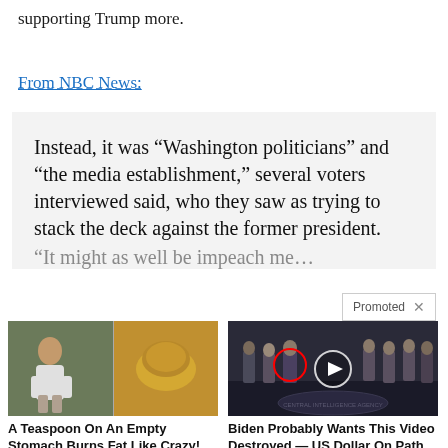supporting Trump more.
From NBC News:
Instead, it was “Washington politicians” and “the media establishment,” several voters interviewed said, who they saw as trying to stack the deck against the former president.
“It might as well be impeach me…
[Figure (photo): Advertisement image showing a woman in athletic wear and a bowl of turmeric/spice powder]
A Teaspoon On An Empty Stomach Burns Fat Like Crazy!
95,250
[Figure (photo): Advertisement image showing a group of men in suits at what appears to be CIA headquarters with a video play button overlay]
Biden Probably Wants This Video Destroyed — US Dollar On Path Towards Replacement?
617,242